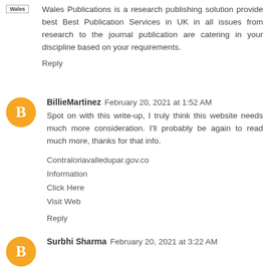[Figure (logo): Wales Publications logo - small text logo reading 'Wales']
Wales Publications is a research publishing solution provide best Best Publication Services in UK in all issues from research to the journal publication are catering in your discipline based on your requirements.
Reply
[Figure (logo): Orange circle avatar with white blogger 'B' icon for BillieMartinez]
BillieMartinez February 20, 2021 at 1:52 AM
Spot on with this write-up, I truly think this website needs much more consideration. I'll probably be again to read much more, thanks for that info.
Contraloriavalledupar.gov.co
Information
Click Here
Visit Web
Reply
[Figure (logo): Orange circle avatar with white blogger 'B' icon for Surbhi Sharma]
Surbhi Sharma February 20, 2021 at 3:22 AM